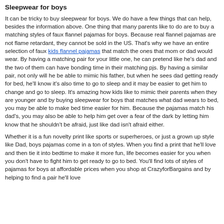Sleepwear for boys
It can be tricky to buy sleepwear for boys. We do have a few things that can help, besides the information above. One thing that many parents like to do are to buy a matching styles of faux flannel pajamas for boys. Because real flannel pajamas are not flame retardant, they cannot be sold in the US. That's why we have an entire selection of faux kids flannel pajamas that match the ones that mom or dad would wear. By having a matching pair for your little one, he can pretend like he's dad and the two of them can have bonding time in their matching pjs. By having a similar pair, not only will he be able to mimic his father, but when he sees dad getting ready for bed, he'll know it's also time to go to sleep and it may be easier to get him to change and go to sleep. It's amazing how kids like to mimic their parents when they are younger and by buying sleepwear for boys that matches what dad wears to bed, you may be able to make bed time easier for him. Because the pajamas match his dad's, you may also be able to help him get over a fear of the dark by letting him know that he shouldn't be afraid, just like dad isn't afraid either.
Whether it is a fun novelty print like sports or superheroes, or just a grown up style like Dad, boys pajamas come in a ton of styles. When you find a print that he'll love and then tie it into bedtime to make it more fun, life becomes easier for you when you don't have to fight him to get ready to go to bed. You'll find lots of styles of pajamas for boys at affordable prices when you shop at CrazyforBargains and by helping to find a pair he'll love...